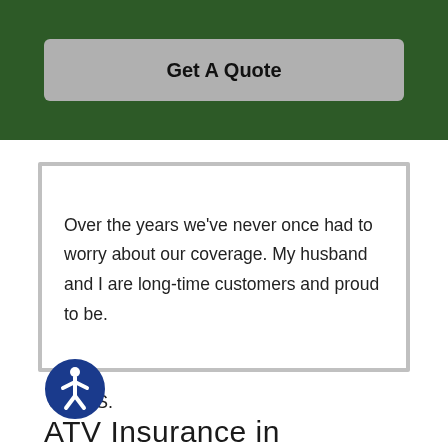[Figure (other): Dark green banner with a grey 'Get A Quote' button]
Over the years we've never once had to worry about our coverage. My husband and I are long-time customers and proud to be.
Carol S.
[Figure (logo): Accessibility icon: blue circle with white person figure]
ATV Insurance in